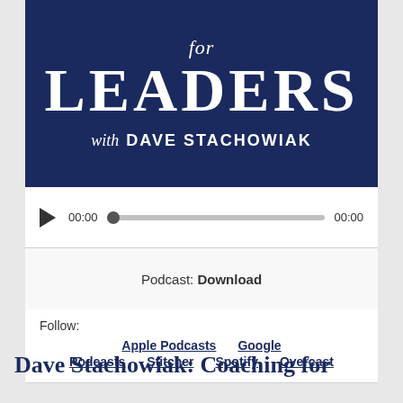[Figure (logo): Podcast banner with dark navy background. Shows partial italic text at top, large 'LEADERS' text, and 'with DAVE STACHOWIAK' below.]
[Figure (screenshot): Audio player with play button, 00:00 start time, progress bar with dot at start, and 00:00 end time.]
Podcast: Download
Follow: Apple Podcasts  Google Podcasts  Stitcher  Spotify  Overcast
Dave Stachowiak: Coaching for